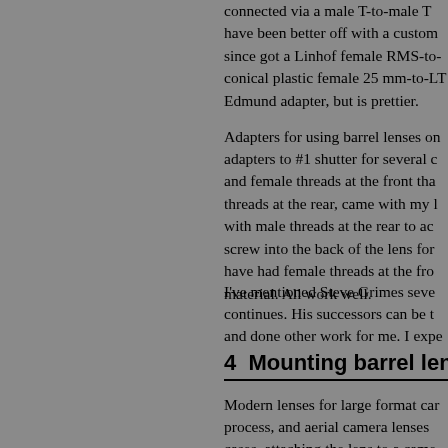connected via a male T-to-male T have been better off with a custom since got a Linhof female RMS-to- conical plastic female 25 mm-to-LT Edmund adapter, but is prettier.
Adapters for using barrel lenses on adapters to #1 shutter for several c and female threads at the front tha threads at the rear, came with my l with male threads at the rear to ace screw into the back of the lens for have had female threads at the fro material. All work well.
I've mentioned Steve Grimes seve continues. His successors can be t and done other work for me. I expe
4  Mounting barrel lens
Modern lenses for large format car process, and aerial camera lenses cases, attaching the lens to a came board that will fit the camera, drills and uses a retaining ring to hold th is setting up a shutter, usually behi exposures with a lens in barrel.